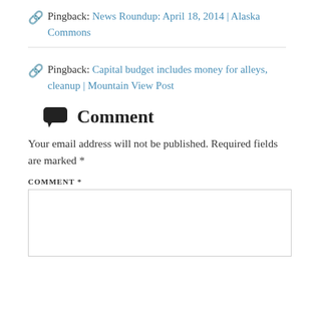Pingback: News Roundup: April 18, 2014 | Alaska Commons
Pingback: Capital budget includes money for alleys, cleanup | Mountain View Post
Comment
Your email address will not be published. Required fields are marked *
COMMENT *